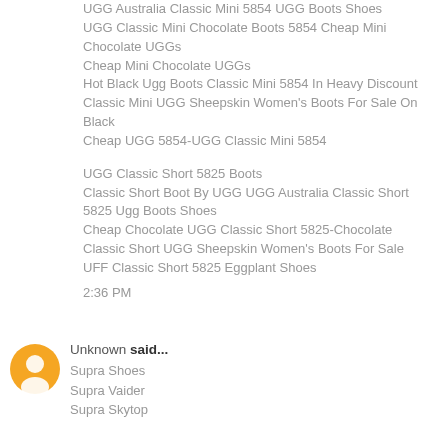UGG Australia Classic Mini 5854 UGG Boots Shoes
UGG Classic Mini Chocolate Boots 5854 Cheap Mini Chocolate UGGs
Cheap Mini Chocolate UGGs
Hot Black Ugg Boots Classic Mini 5854 In Heavy Discount
Classic Mini UGG Sheepskin Women's Boots For Sale On Black
Cheap UGG 5854-UGG Classic Mini 5854
UGG Classic Short 5825 Boots
Classic Short Boot By UGG UGG Australia Classic Short 5825 Ugg Boots Shoes
Cheap Chocolate UGG Classic Short 5825-Chocolate
Classic Short UGG Sheepskin Women's Boots For Sale
UFF Classic Short 5825 Eggplant Shoes
2:36 PM
Unknown said...
Supra Shoes
Supra Vaider
Supra Skytop